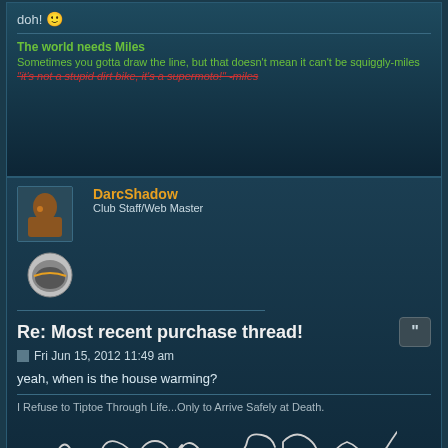doh! 🙂
The world needs Miles
Sometimes you gotta draw the line, but that doesn't mean it can't be squiggly-miles
"it's not a stupid dirt bike, it's a supermoto!" -miles
DarcShadow
Club Staff/Web Master
Re: Most recent purchase thread!
Fri Jun 15, 2012 11:49 am
yeah, when is the house warming?
I Refuse to Tiptoe Through Life...Only to Arrive Safely at Death.
[Figure (illustration): Hand-drawn style squiggly motorcycle track/route shapes in white outline]
Attack Life! It's gonna kill you anyway.
http://www.facebook.com/DSDecals